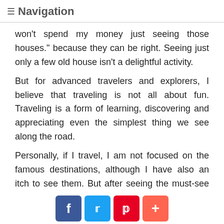≡ Navigation
won't spend my money just seeing those houses." because they can be right. Seeing just only a few old house isn't a delightful activity.
But for advanced travelers and explorers, I believe that traveling is not all about fun. Traveling is a form of learning, discovering and appreciating even the simplest thing we see along the road.
Personally, if I travel, I am not focused on the famous destinations, although I have also an itch to see them. But after seeing the must-see places, I really find time to explore more about the place a…